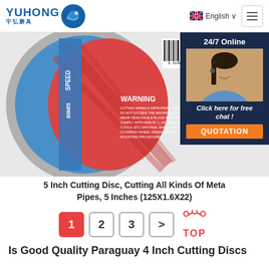[Figure (logo): YUHONG logo with Chinese characters 宇弘磨具 and blue wave/fish icon]
[Figure (screenshot): Website header with English language selector and hamburger menu button]
[Figure (photo): Close-up of a 5 inch red and blue cutting disc showing WARNING label text: CUTTING WHEELS IMPROPERLY USED ARE DANGEROUS. DO NOT EXCEED THE MAXIMUM SAFE SPEED. ALWAYS WEAR HEAD,FACE,EYE AND BODY PROTECTION. COMPLY WITH ANSI B7.1, AS1788.1, BS4481, JIS & O.S.H.A. ETC. NATIONAL SAFETY REGULATIONS COVERING WHEEL SPEED, SAFETY GUARD, AND FLANGE MOUNTING PROCEDURES. Speed 80M/S visible. Also shows agent chat widget with 24/7 Online text, woman with headset, Click here for free chat!, and QUOTATION button.]
5 Inch Cutting Disc, Cutting All Kinds Of Meta Pipes, 5 Inches (125X1.6X22)
[Figure (other): Pagination with buttons 1 (active/red), 2, 3, > and TOP icon]
Is Good Quality Paraguay 4 Inch Cutting Discs